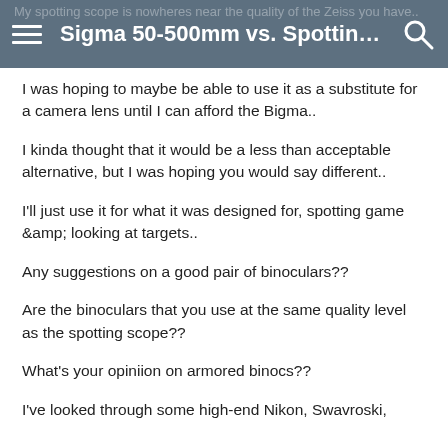Sigma 50-500mm vs. Spotting ...
I was hoping to maybe be able to use it as a substitute for a camera lens until I can afford the Bigma..
I kinda thought that it would be a less than acceptable alternative, but I was hoping you would say different..
I'll just use it for what it was designed for, spotting game &amp; looking at targets..
Any suggestions on a good pair of binoculars??
Are the binoculars that you use at the same quality level as the spotting scope??
What's your opiniion on armored binocs??
I've looked through some high-end Nikon, Swavroski,